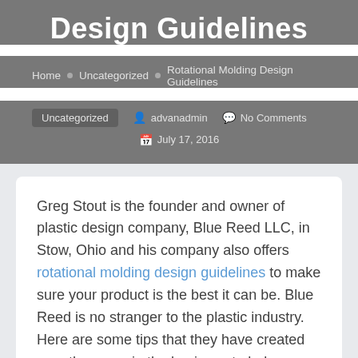Design Guidelines
Home • Uncategorized • Rotational Molding Design Guidelines
Uncategorized  advanadmin  No Comments  July 17, 2016
Greg Stout is the founder and owner of plastic design company, Blue Reed LLC, in Stow, Ohio and his company also offers rotational molding design guidelines to make sure your product is the best it can be. Blue Reed is no stranger to the plastic industry. Here are some tips that they have created over the years in the business to help you better understand what you would like designed by Blue Reed or even if you're designing a product yourself.